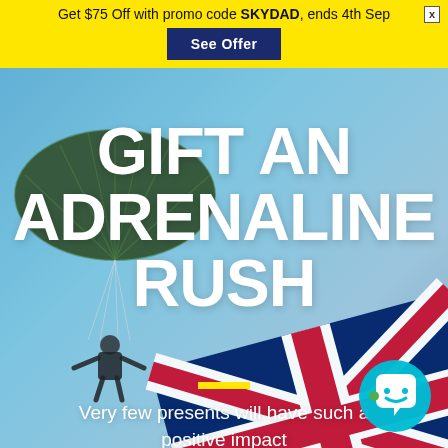Get $75 Off with promo code SKYDAD, ends 4th Sep
See Offer
[Figure (photo): Skydiver with parachute against blue sky with UK flag in the background]
GIFT AN ADRENALINE RUSH
Very few presents will have such a positive impact